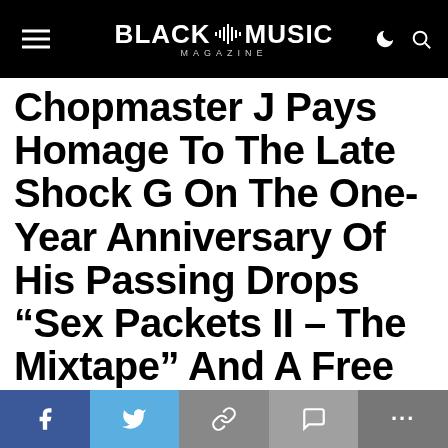BLACK MUSIC MAGAZINE
Chopmaster J Pays Homage To The Late Shock G On The One-Year Anniversary Of His Passing Drops “Sex Packets II – The Mixtape” And A Free NFT By DUNxG (DU Next Generation)